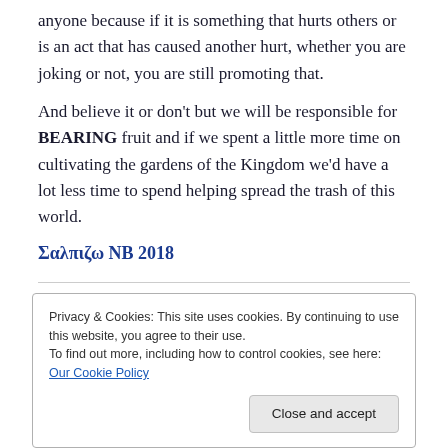anyone because if it is something that hurts others or is an act that has caused another hurt, whether you are joking or not, you are still promoting that.
And believe it or don't but we will be responsible for BEARING fruit and if we spent a little more time on cultivating the gardens of the Kingdom we'd have a lot less time to spend helping spread the trash of this world.
Σαλπιζω NB 2018
Privacy & Cookies: This site uses cookies. By continuing to use this website, you agree to their use.
To find out more, including how to control cookies, see here: Our Cookie Policy
Close and accept